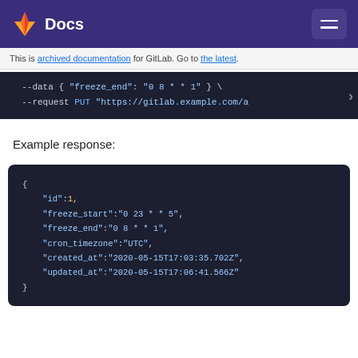Docs
This is archived documentation for GitLab. Go to the latest.
[Figure (screenshot): Code block showing curl command with --data and --request PUT https://gitlab.example.com/a]
Example response:
[Figure (screenshot): JSON code block showing: { "id":1, "freeze_start":"0 23 * * 5", "freeze_end":"0 8 * * 1", "cron_timezone":"UTC", "created_at":"2020-05-15T17:03:35.702Z", "updated_at":"2020-05-15T17:06:41.566Z" }]